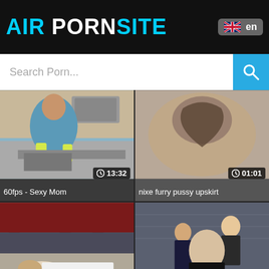AIR PORNSITE  en
Search Porn...
[Figure (screenshot): Video thumbnail: woman in blue top and yellow rubber gloves at kitchen sink. Duration: 13:32. Title: 60fps - Sexy Mom]
60fps - Sexy Mom
[Figure (screenshot): Video thumbnail: close-up intimate body shot. Duration: 01:01. Title: nixe furry pussy upskirt]
nixe furry pussy upskirt
[Figure (screenshot): Video thumbnail: person lying under a wooden table on floor. Duration: 14:52. Title: Peeping under skirt]
Peeping under skirt
[Figure (screenshot): Video thumbnail: group scene on public transit. Duration: 37:52. Title: Chikan 046]
Chikan 046
[Figure (screenshot): Video thumbnail placeholder - dark/black]
[Figure (screenshot): Video thumbnail placeholder - dark/black]